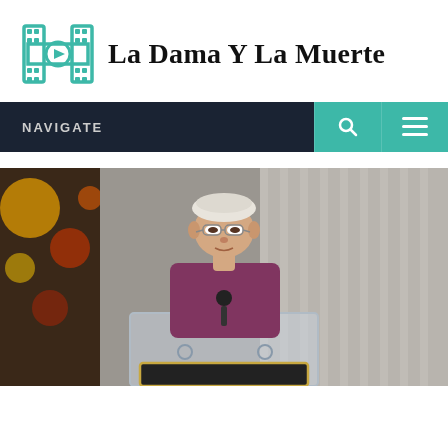[Figure (logo): Film reel / play button logo icon in teal/green color]
La Dama Y La Muerte
NAVIGATE
[Figure (photo): Elderly man wearing a white beret and glasses, dressed in a maroon/purple shirt, standing at a clear podium with a microphone, speaking at what appears to be a Hollywood Walk of Fame ceremony with blurred colorful background]